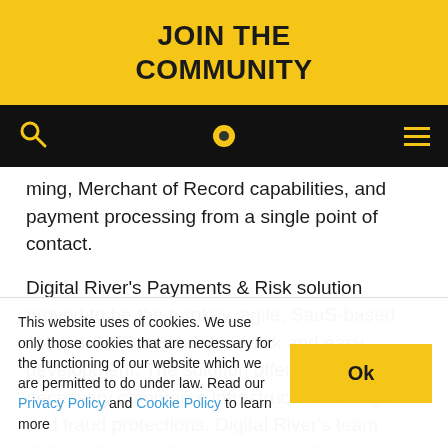JOIN THE COMMUNITY
[Navigation bar with search icon, logo dot, and menu icon]
ming, Merchant of Record capabilities, and payment processing from a single point of contact.
Digital River's Payments & Risk solution proved to be the turnkey, agile, SaaS-based solution HTC needed for quick and easy development. The solution offered the necessary commerce infrastructure for legal and fraud protections. Digital River's team delivered integration expertise and expert technical
This website uses of cookies. We use only those cookies that are necessary for the functioning of our website which we are permitted to do under law. Read our Privacy Policy and Cookie Policy to learn more